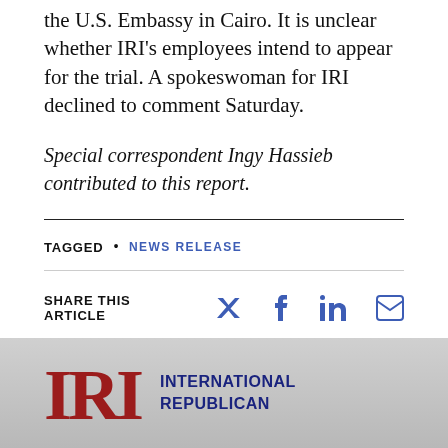the U.S. Embassy in Cairo. It is unclear whether IRI's employees intend to appear for the trial. A spokeswoman for IRI declined to comment Saturday.
Special correspondent Ingy Hassieb contributed to this report.
TAGGED • NEWS RELEASE
SHARE THIS ARTICLE
[Figure (logo): IRI - International Republican Institute logo with red serif IRI letters and dark blue organization name text]